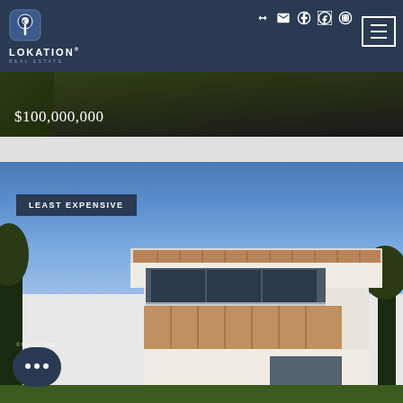[Figure (logo): Lokation Real Estate logo with location pin icon on dark navy navigation bar]
[Figure (photo): Aerial/landscape property photo showing tropical trees with price overlay $100,000,000]
$100,000,000
[Figure (photo): Modern luxury home exterior with LEAST EXPENSIVE badge, contemporary architecture with wood and concrete, blue sky background, palm trees]
LEAST EXPENSIVE